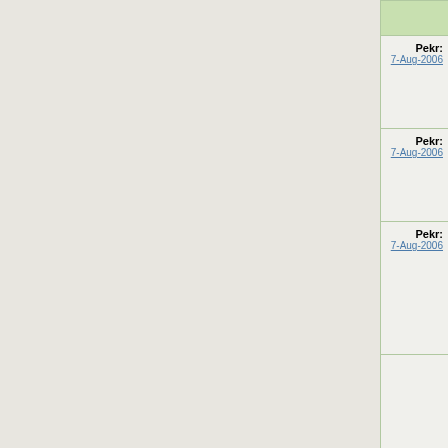| Author | Message |
| --- | --- |
| Pekr: 7-Aug-2006 | why can I enter e |
| Pekr: 7-Aug-2006 | so to enter direc |
| Pekr: 7-Aug-2006 | thanks ... the pr needs to be "exec |
|  | imho; Ubuntu is set of packages n ships with a defa Debian ... Debian seem to do it for a growing communi is funded. I'm p where you can orc Pretty sweet. Bu releases. Canoni So you get new s on it, I prefer t |